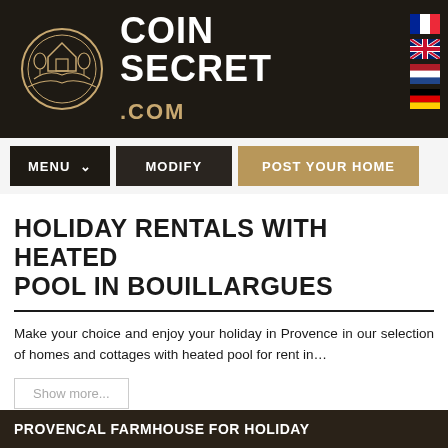[Figure (logo): Coin Secret .com website header with circular logo icon showing a house/landscape scene, site name in large white bold text, and four country flag icons (French, British, Dutch, German) on the right side]
[Figure (screenshot): Navigation bar with three buttons: MENU with dropdown arrow, MODIFY, and POST YOUR HOME]
HOLIDAY RENTALS WITH HEATED POOL IN BOUILLARGUES
Make your choice and enjoy your holiday in Provence in our selection of homes and cottages with heated pool for rent in...
Show more...
Suggestion of cities and villages
PROVENCAL FARMHOUSE FOR HOLIDAY